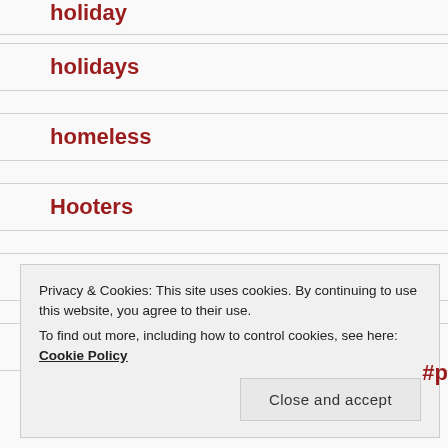holiday
holidays
homeless
Hooters
horror
hot dogs
Privacy & Cookies: This site uses cookies. By continuing to use this website, you agree to their use.
To find out more, including how to control cookies, see here: Cookie Policy